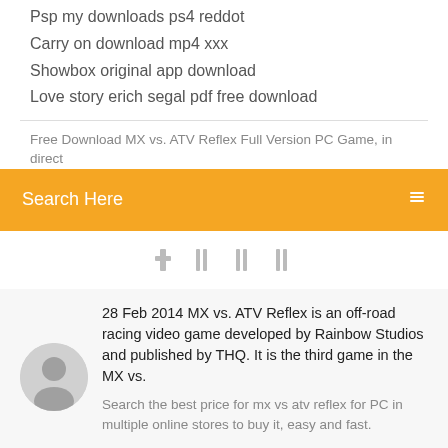Psp my downloads ps4 reddot
Carry on download mp4 xxx
Showbox original app download
Love story erich segal pdf free download
Free Download MX vs. ATV Reflex Full Version PC Game, in direct
Search Here
28 Feb 2014 MX vs. ATV Reflex is an off-road racing video game developed by Rainbow Studios and published by THQ. It is the third game in the MX vs.
Search the best price for mx vs atv reflex for PC in multiple online stores to buy it, easy and fast.